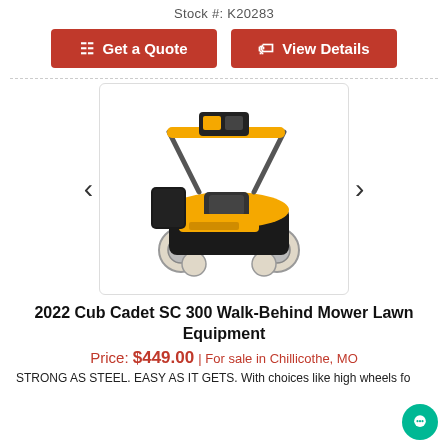Stock #: K20283
Get a Quote
View Details
[Figure (photo): Photo of a 2022 Cub Cadet SC 300 Walk-Behind Mower, yellow and black, with high rear wheels and handlebar controls, shown at an angle on a white background.]
2022 Cub Cadet SC 300 Walk-Behind Mower Lawn Equipment
Price: $449.00 | For sale in Chillicothe, MO
STRONG AS STEEL. EASY AS IT GETS. With choices like high wheels fo